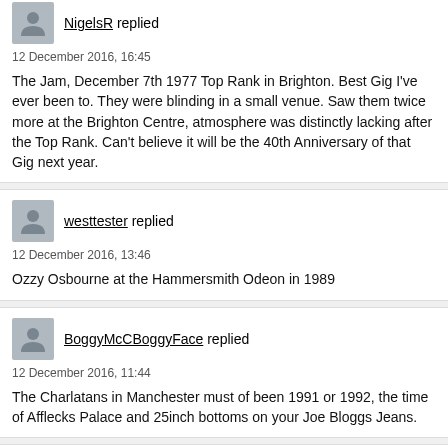NigelsR replied
12 December 2016, 16:45
The Jam, December 7th 1977 Top Rank in Brighton. Best Gig I've ever been to. They were blinding in a small venue. Saw them twice more at the Brighton Centre, atmosphere was distinctly lacking after the Top Rank. Can't believe it will be the 40th Anniversary of that Gig next year.
westtester replied
12 December 2016, 13:46
Ozzy Osbourne at the Hammersmith Odeon in 1989
BoggyMcCBoggyFace replied
12 December 2016, 11:44
The Charlatans in Manchester must of been 1991 or 1992, the time of Afflecks Palace and 25inch bottoms on your Joe Bloggs Jeans.
Grasser73 replied